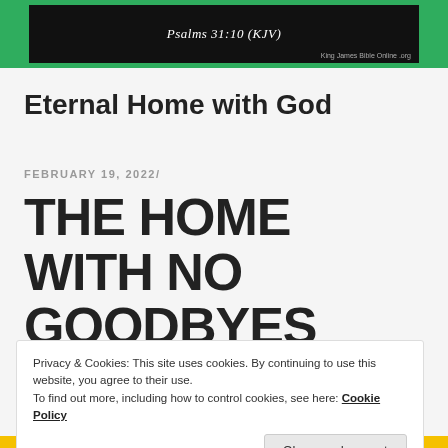[Figure (screenshot): Black banner with italic text 'Psalms 31:10 (KJV)' and small attribution text, set against a green background bar]
Eternal Home with God
FEBRUARY 19, 2022/
THE HOME WITH NO GOODBYES
Privacy & Cookies: This site uses cookies. By continuing to use this website, you agree to their use.
To find out more, including how to control cookies, see here: Cookie Policy
Close and accept